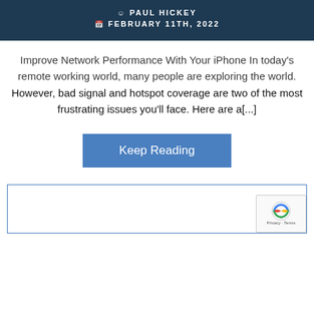PAUL HICKEY
FEBRUARY 11TH, 2022
Improve Network Performance With Your iPhone In today's remote working world, many people are exploring the world. However, bad signal and hotspot coverage are two of the most frustrating issues you'll face. Here are a[...]
Keep Reading
[Figure (other): reCAPTCHA badge with Privacy and Terms text]